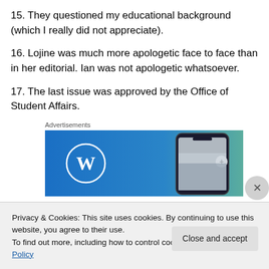15. They questioned my educational background (which I really did not appreciate).
16. Lojine was much more apologetic face to face than in her editorial. Ian was not apologetic whatsoever.
17. The last issue was approved by the Office of Student Affairs.
Advertisements
[Figure (screenshot): WordPress advertisement banner with WordPress logo (W) on blue background and a smartphone on the right side with a teal/green gradient background]
Privacy & Cookies: This site uses cookies. By continuing to use this website, you agree to their use.
To find out more, including how to control cookies, see here: Cookie Policy